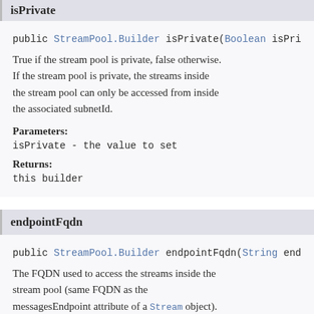isPrivate
public StreamPool.Builder isPrivate(Boolean isPri
True if the stream pool is private, false otherwise. If the stream pool is private, the streams inside the stream pool can only be accessed from inside the associated subnetId.
Parameters:
isPrivate - the value to set
Returns:
this builder
endpointFqdn
public StreamPool.Builder endpointFqdn(String end
The FQDN used to access the streams inside the stream pool (same FQDN as the messagesEndpoint attribute of a Stream object). If the stream pool is private, the FQDN is